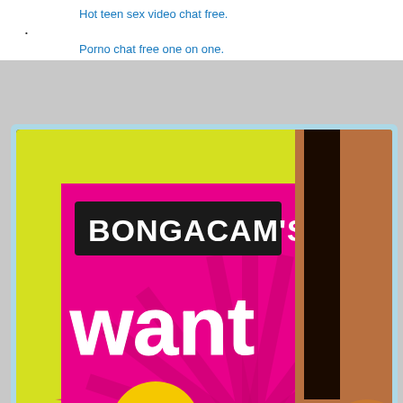Hot teen sex video chat free.
Porno chat free one on one.
[Figure (photo): Advertisement banner for BongaCam's featuring text 'BONGACAM'S want to play?' on a yellow and pink starburst background with partial image of a person, and a bottom bar reading 'Free Web']